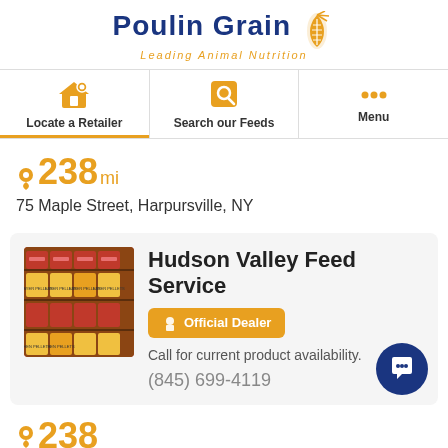[Figure (logo): Poulin Grain logo with wheat graphic and tagline 'Leading Animal Nutrition']
Locate a Retailer | Search our Feeds | Menu
238mi
75 Maple Street, Harpursville, NY
[Figure (photo): Photo of stacked feed bags (yellow and red bags) on store shelves]
Hudson Valley Feed Service
Official Dealer
Call for current product availability.
(845) 699-4119
238